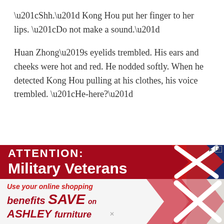“Shh.” Kong Hou put her finger to her lips. “Do not make a sound.”
Huan Zhong’s eyelids trembled. His ears and cheeks were hot and red. He nodded softly. When he detected Kong Hou pulling at his clothes, his voice trembled. “He-here?”
[Figure (other): Advertisement banner: top section dark red background with white bold text 'ATTENTION: Military Veterans' and a stylized X logo in red and blue on the right. Bottom section light gray background with red italic text 'Use your online shopping benefits and SAVE and ASHLEY furniture' with the X logo continuing.]